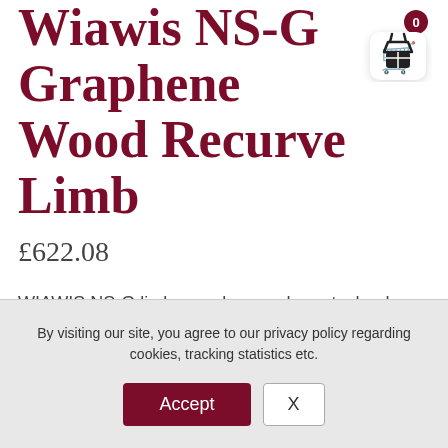Wiawis NS-G Graphene Wood Recurve Limb
£622.08
WIAWIS NS-G limbs employ graphene technology to offer shorter and narrower string movement than any other limbs and provide the most efficient energy transfer. This performance creates better arrow grouping with forgiveness.
By visiting our site, you agree to our privacy policy regarding cookies, tracking statistics etc.